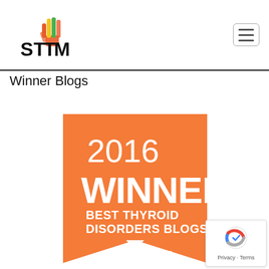STTM logo and navigation
Winner Blogs
[Figure (illustration): Orange banner/ribbon badge reading '2016 WINNER BEST THYROID DISORDERS BLOGS healthline' with a ribbon-bottom cut shape on an orange background with white text.]
[Figure (logo): Google reCAPTCHA badge in bottom right corner showing the reCAPTCHA logo and 'Privacy · Terms' text.]